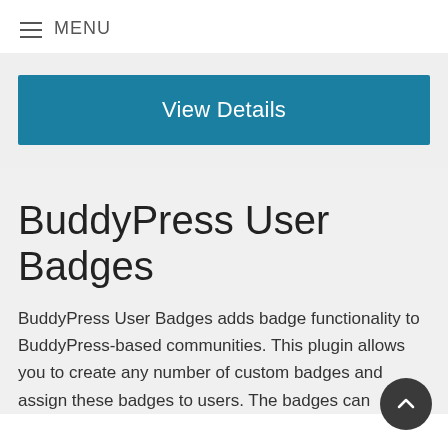≡ MENU
[Figure (other): Blue 'View Details' button on gray background]
BuddyPress User Badges
BuddyPress User Badges adds badge functionality to BuddyPress-based communities. This plugin allows you to create any number of custom badges and assign these badges to users. The badges can